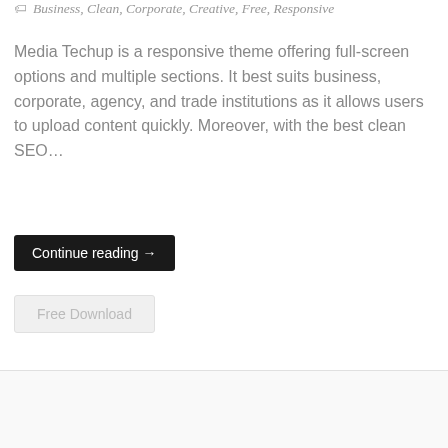WordPress
Business, Clean, Corporate, Creative, Free, Responsive
Media Techup is a responsive theme offering full-screen options and multiple sections. It best suits business, corporate, agency, and trade institutions as it allows users to upload content quickly. Moreover, with the best clean SEO…
Continue reading →
Free Download